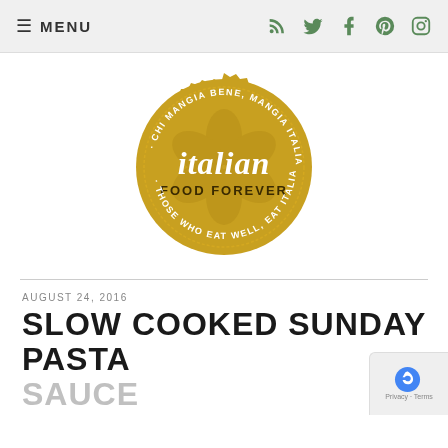≡ MENU
[Figure (logo): Italian Food Forever circular gold badge logo with text: italian FOOD FOREVER, CHI MANGIA BENE, MANGIA ITALIANO, THOSE WHO EAT WELL, EAT ITALIAN]
AUGUST 24, 2016
SLOW COOKED SUNDAY PASTA SAUCE